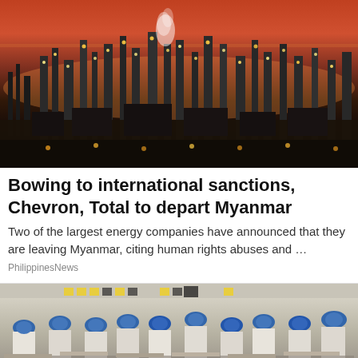[Figure (photo): Aerial night view of a large oil refinery illuminated with lights against a pink-red sunset sky]
Bowing to international sanctions, Chevron, Total to depart Myanmar
Two of the largest energy companies have announced that they are leaving Myanmar, citing human rights abuses and ...
PhilippinesNews
[Figure (photo): Workers in blue caps and white uniforms working in a factory, likely a garment or manufacturing facility]